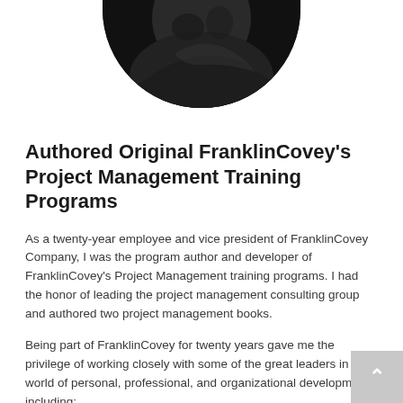[Figure (photo): Circular cropped photo of a person, dark/shadowed, positioned at top center of the page, bottom half of circle visible]
Authored Original FranklinCovey's Project Management Training Programs
As a twenty-year employee and vice president of FranklinCovey Company, I was the program author and developer of FranklinCovey's Project Management training programs. I had the honor of leading the project management consulting group and authored two project management books.
Being part of FranklinCovey for twenty years gave me the privilege of working closely with some of the great leaders in the world of personal, professional, and organizational development, including:
Hyrum Smith and Dick Winwood, founders of the Franklin